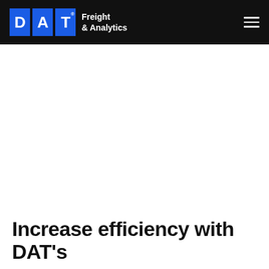[Figure (logo): DAT Freight & Analytics logo with blue letter boxes D, A, T on black header background]
Increase efficiency with DAT's